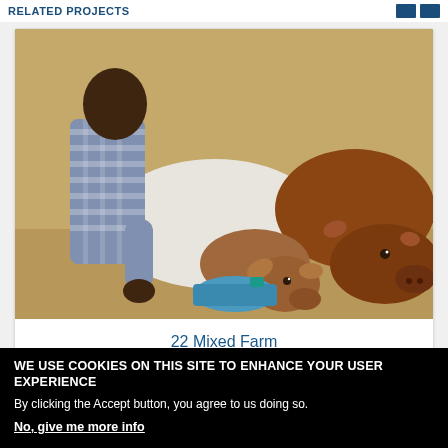RELATED PROJECTS
[Figure (photo): A person bending over to tend to cattle — a brown calf and a white cow — in a dry field. The person is wearing a plaid shirt. The scene depicts a mixed farm setting.]
22 Mixed Farm
WE USE COOKIES ON THIS SITE TO ENHANCE YOUR USER EXPERIENCE
By clicking the Accept button, you agree to us doing so.
No, give me more info